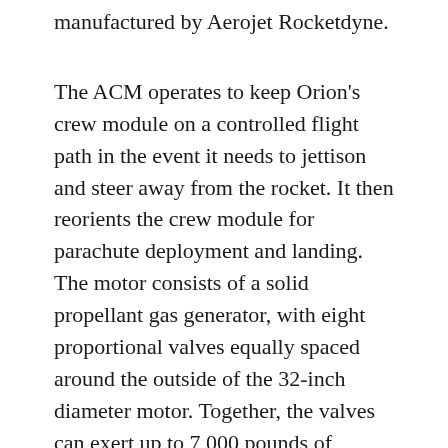manufactured by Aerojet Rocketdyne.
The ACM operates to keep Orion's crew module on a controlled flight path in the event it needs to jettison and steer away from the rocket. It then reorients the crew module for parachute deployment and landing. The motor consists of a solid propellant gas generator, with eight proportional valves equally spaced around the outside of the 32-inch diameter motor. Together, the valves can exert up to 7,000 pounds of steering force to the vehicle in any direction upon command from the crew module.
Inside the LASF, the motor will be placed on a